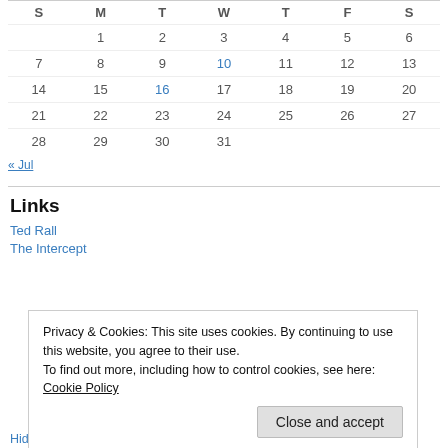| S | M | T | W | T | F | S |
| --- | --- | --- | --- | --- | --- | --- |
|  | 1 | 2 | 3 | 4 | 5 | 6 |
| 7 | 8 | 9 | 10 | 11 | 12 | 13 |
| 14 | 15 | 16 | 17 | 18 | 19 | 20 |
| 21 | 22 | 23 | 24 | 25 | 26 | 27 |
| 28 | 29 | 30 | 31 |  |  |  |
« Jul
Links
Ted Rall
The Intercept
Privacy & Cookies: This site uses cookies. By continuing to use this website, you agree to their use.
To find out more, including how to control cookies, see here: Cookie Policy
Close and accept
Hidin' Biden should be primaried if he refuses to step aside for 2024